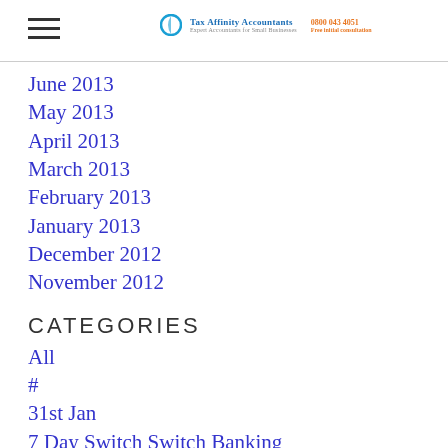Tax Affinity Accountants | 0800 043 4051
June 2013
May 2013
April 2013
March 2013
February 2013
January 2013
December 2012
November 2012
CATEGORIES
All
#
31st Jan
7 Day Switch Switch Banking
Accountant
#accountant
Accountant In Cheam